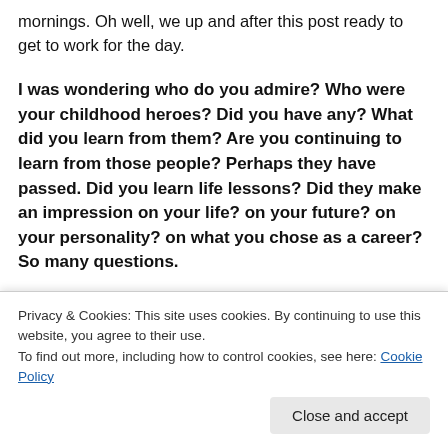mornings. Oh well, we up and after this post ready to get to work for the day.
I was wondering who do you admire? Who were your childhood heroes? Did you have any? What did you learn from them? Are you continuing to learn from those people? Perhaps they have passed. Did you learn life lessons? Did they make an impression on your life? on your future? on your personality? on what you chose as a career? So many questions.
The above questions were asked yesterday. Did you
Privacy & Cookies: This site uses cookies. By continuing to use this website, you agree to their use.
To find out more, including how to control cookies, see here: Cookie Policy
Close and accept